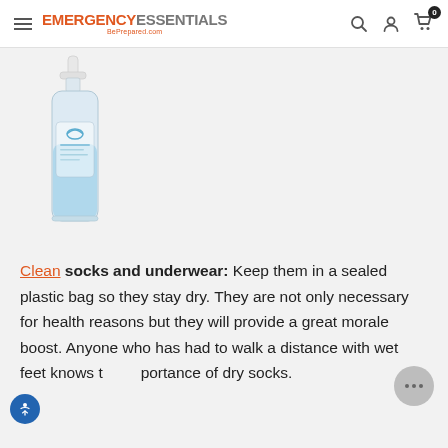EMERGENCY ESSENTIALS BePrepared.com
[Figure (photo): A clear plastic pump bottle with blue liquid hand sanitizer or soap, with a white pump top, labeled with a logo.]
Clean socks and underwear: Keep them in a sealed plastic bag so they stay dry. They are not only necessary for health reasons but they will provide a great morale boost. Anyone who has had to walk a distance with wet feet knows the importance of dry socks.